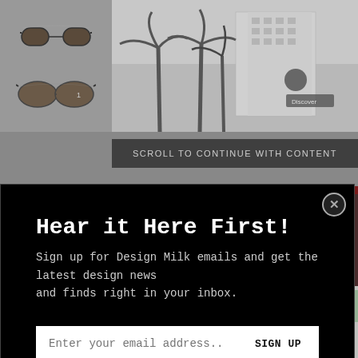[Figure (screenshot): Top portion of a webpage showing sunglasses on the left and a grey advertisement/content area with palm trees on the right, with a 'SCROLL TO CONTINUE WITH CONTENT' bar at the bottom]
SCROLL TO CONTINUE WITH CONTENT
Hear it Here First!
Sign up for Design Milk emails and get the latest design news and finds right in your inbox.
Enter your email address...
SIGN UP
Not right now.
[Figure (photo): Bottom portion of a webpage showing a striped fabric/curtain in dark red and maroon tones, with the text 'Made Cozy' overlaid in white, and decorative pillows visible on the right side]